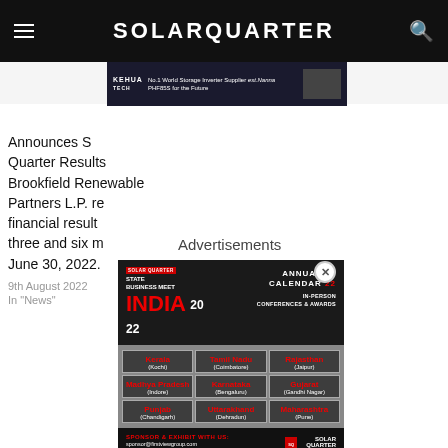SOLARQUARTER
[Figure (screenshot): Banner ad for KEHUA TECH: No.1 World Storage Inverter Supplier, PHESS for the Future]
Announces S Quarter Results Brookfield Renewable Partners L.P. re financial result three and six m June 30, 2022.
9th August 2022
In "News"
[Figure (infographic): Solar Quarter State Business Meet India 2022 advertisement popup showing Annual Calendar 2022, In-Person Conferences & Awards, with city locations: Kerala (Kochi), Tamil Nadu (Coimbatore), Rajasthan (Jaipur), Madhya Pradesh (Indore), Karnataka (Bengaluru), Gujarat (Gandhi Nagar), Punjab (Chandigarh), Uttarakhand (Dehradun), Maharashtra (Pune). Sponsor & Exhibit contact: sponsor@firstviewgroup.com, 9372788472/7718877514. Solar Quarter South Asia logo.]
Advertisements
TAGS
Amer
ewable Power
Technology
Advertisements